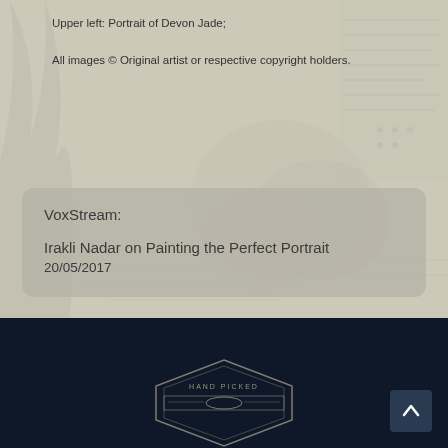Upper left: Portrait of Devon Jade;

All images © Original artist or respective copyright holders.
VoxStream:
Irakli Nadar on Painting the Perfect Portrait
20/05/2017
[Figure (logo): Hand Picked badge/logo in white outline on dark navy background at bottom of page]
[Figure (other): Up arrow navigation button, white arrow on dark background, bottom right corner]